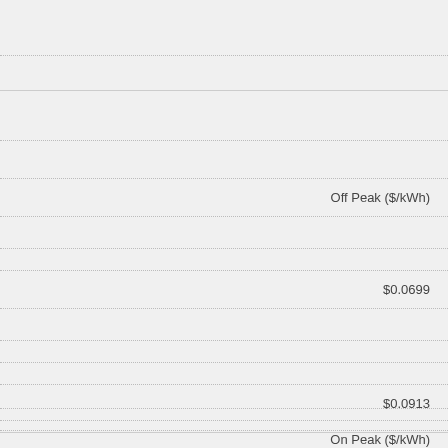Off Peak ($/kWh)
$0.0699
$0.0913
On Peak ($/kWh)